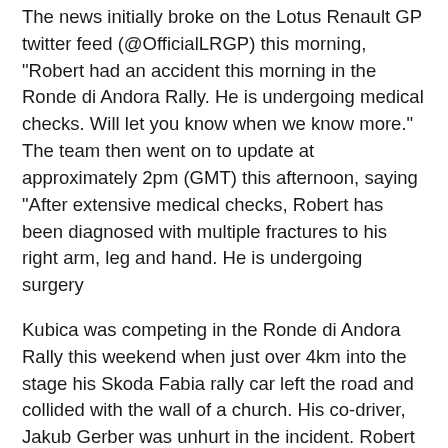The news initially broke on the Lotus Renault GP twitter feed (@OfficialLRGP) this morning, "Robert had an accident this morning in the Ronde di Andora Rally. He is undergoing medical checks. Will let you know when we know more." The team then went on to update at approximately 2pm (GMT) this afternoon, saying "After extensive medical checks, Robert has been diagnosed with multiple fractures to his right arm, leg and hand. He is undergoing surgery
Kubica was competing in the Ronde di Andora Rally this weekend when just over 4km into the stage his Skoda Fabia rally car left the road and collided with the wall of a church. His co-driver, Jakub Gerber was unhurt in the incident. Robert was said to have remained conscious throughout the lengthy process to extract him from his car and was then airlifted to Santa Corona Hospital in Pietra Ligure.